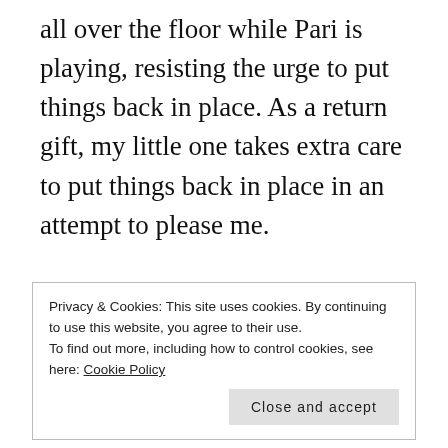all over the floor while Pari is playing, resisting the urge to put things back in place. As a return gift, my little one takes extra care to put things back in place in an attempt to please me.

At the risk of repeating myself a hundredth time I have to say, I am a slow learner. Lessons that come naturally to people, take years to make an impression in my mind. But, I am not
Privacy & Cookies: This site uses cookies. By continuing to use this website, you agree to their use.
To find out more, including how to control cookies, see here: Cookie Policy
Close and accept